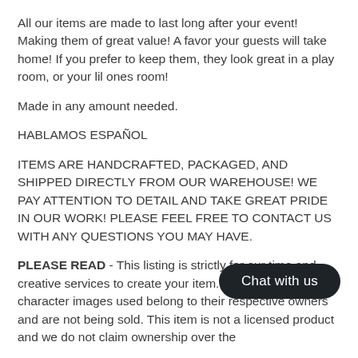All our items are made to last long after your event! Making them of great value! A favor your guests will take home! If you prefer to keep them, they look great in a play room, or your lil ones room!
Made in any amount needed.
HABLAMOS ESPAÑOL
ITEMS ARE HANDCRAFTED, PACKAGED, AND SHIPPED DIRECTLY FROM OUR WAREHOUSE! WE PAY ATTENTION TO DETAIL AND TAKE GREAT PRIDE IN OUR WORK! PLEASE FEEL FREE TO CONTACT US WITH ANY QUESTIONS YOU MAY HAVE.
PLEASE READ - This listing is strictly for our time and creative services to create your item. All trademarks of the character images used belong to their respective owners and are not being sold. This item is not a licensed product and we do not claim ownership over the
[Figure (other): Chat with us button overlay]